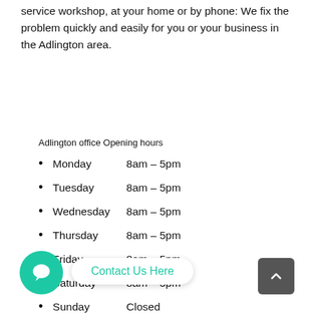service workshop, at your home or by phone: We fix the problem quickly and easily for you or your business in the Adlington area.
Adlington office Opening hours
Monday      8am – 5pm
Tuesday      8am – 5pm
Wednesday 8am – 5pm
Thursday    8am – 5pm
Friday         8am – 5pm
Saturday    8am – 5pm
Sunday       Closed